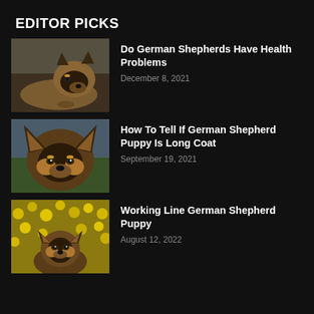EDITOR PICKS
[Figure (photo): German Shepherd dog lying down on pavement, close-up of face]
Do German Shepherds Have Health Problems
December 8, 2021
[Figure (photo): German Shepherd puppy close-up face with large ears, outdoors on grass]
How To Tell If German Shepherd Puppy Is Long Coat
September 19, 2021
[Figure (photo): German Shepherd puppy looking up from yellow flowers]
Working Line German Shepherd Puppy
August 12, 2022